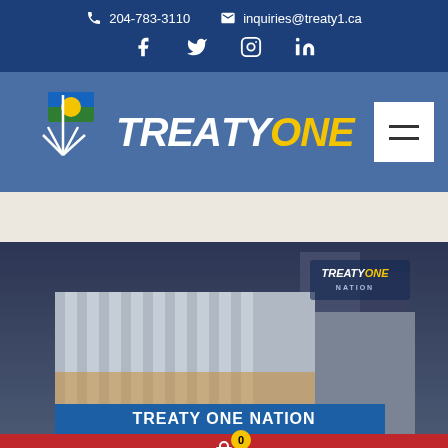204-783-3110   inquiries@treaty1.ca
[Figure (logo): Treaty One Nation logo with tipi icon and flag, white and yellow text on blue background]
[Figure (photo): Aerial nighttime photo of Treaty One Nation building in urban setting with TREATY ONE NATION overlay text and partial banner text at bottom]
0 (cart icon)